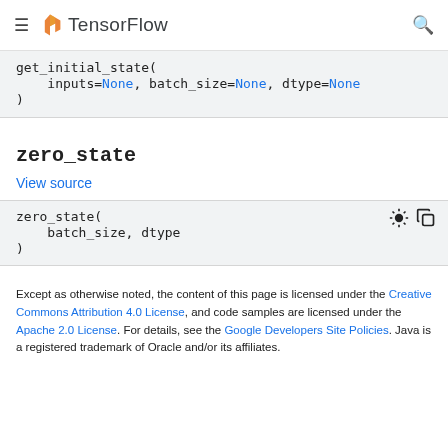TensorFlow
get_initial_state(
    inputs=None, batch_size=None, dtype=None
)
zero_state
View source
zero_state(
    batch_size, dtype
)
Except as otherwise noted, the content of this page is licensed under the Creative Commons Attribution 4.0 License, and code samples are licensed under the Apache 2.0 License. For details, see the Google Developers Site Policies. Java is a registered trademark of Oracle and/or its affiliates.